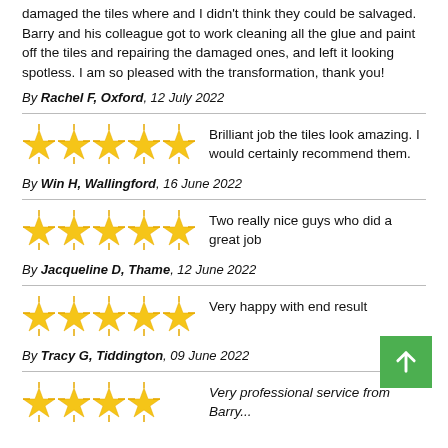damaged the tiles where and I didn't think they could be salvaged. Barry and his colleague got to work cleaning all the glue and paint off the tiles and repairing the damaged ones, and left it looking spotless. I am so pleased with the transformation, thank you!
By Rachel F, Oxford, 12 July 2022
Brilliant job the tiles look amazing. I would certainly recommend them.
By Win H, Wallingford, 16 June 2022
Two really nice guys who did a great job
By Jacqueline D, Thame, 12 June 2022
Very happy with end result
By Tracy G, Tiddington, 09 June 2022
Very professional service from Barry...